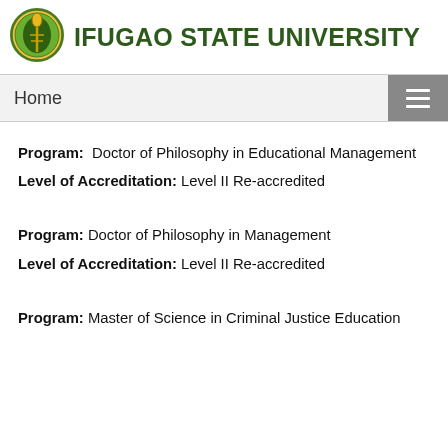IFUGAO STATE UNIVERSITY
Home
Program: Doctor of Philosophy in Educational Management
Level of Accreditation: Level II Re-accredited
Program: Doctor of Philosophy in Management
Level of Accreditation: Level II Re-accredited
Program: Master of Science in Criminal Justice Education